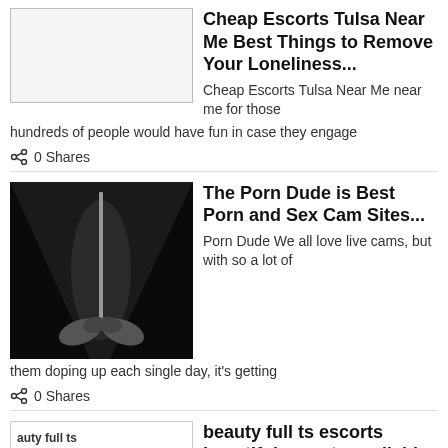[Figure (illustration): White/blank thumbnail placeholder with border]
Cheap Escorts Tulsa Near Me Best Things to Remove Your Loneliness...
Cheap Escorts Tulsa Near Me near me for those hundreds of people would have fun in case they engage
0 Shares
[Figure (photo): Black and white photo showing hands holding a tall thin object against a dark background]
The Porn Dude is Best Porn and Sex Cam Sites...
Porn Dude We all love live cams, but with so a lot of them doping up each single day, it's getting
0 Shares
[Figure (illustration): White thumbnail with red text 'auty full ts escorts' and black silhouette of a reclining figure]
beauty full ts escorts beautiful escorts available to meet...
beauty full ts escorts To describe the perfect ts escorts is to recognize that she is not a clone of